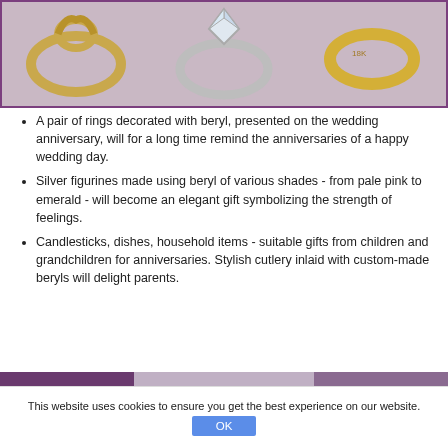[Figure (photo): Three rings displayed on a pinkish-grey background — a yellow gold ring on the left, a silver/white gold ring with a diamond in the center, and a yellow gold band on the right. Purple border around the image.]
A pair of rings decorated with beryl, presented on the wedding anniversary, will for a long time remind the anniversaries of a happy wedding day.
Silver figurines made using beryl of various shades - from pale pink to emerald - will become an elegant gift symbolizing the strength of feelings.
Candlesticks, dishes, household items - suitable gifts from children and grandchildren for anniversaries. Stylish cutlery inlaid with custom-made beryls will delight parents.
[Figure (photo): Bottom partial image strip with purple/grey color bands.]
This website uses cookies to ensure you get the best experience on our website.